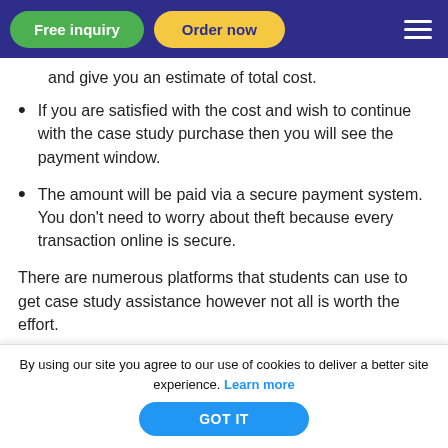Free inquiry | Order now
and give you an estimate of total cost.
If you are satisfied with the cost and wish to continue with the case study purchase then you will see the payment window.
The amount will be paid via a secure payment system. You don't need to worry about theft because every transaction online is secure.
There are numerous platforms that students can use to get case study assistance however not all is worth the effort.
By using our site you agree to our use of cookies to deliver a better site experience. Learn more
GOT IT